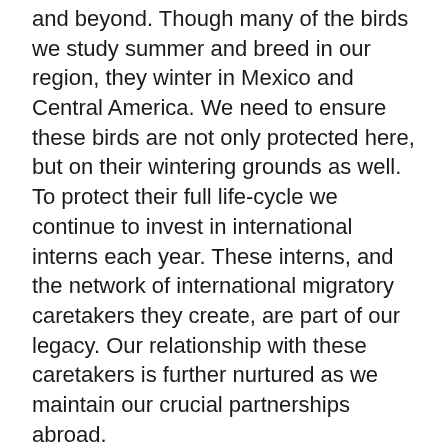and beyond.  Though many of the birds we study summer and breed in our region, they winter in Mexico and Central America.  We need to ensure these birds are not only protected here, but on their wintering grounds as well.  To protect their full life-cycle we continue to invest in international interns each year.  These interns, and the network of international migratory caretakers they create, are part of our legacy.  Our relationship with these caretakers is further nurtured as we maintain our crucial partnerships abroad.
When you contribute to KBO, you also become a caretaker.  Your private dollars contribute to the science and outreach programs which support our migratory birds both here and abroad.
You, our loyal members and donors, play a vital part in this change of seasons too; a role in the responsibility